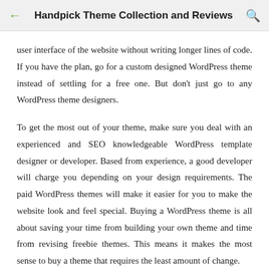Handpick Theme Collection and Reviews
user interface of the website without writing longer lines of code. If you have the plan, go for a custom designed WordPress theme instead of settling for a free one. But don't just go to any WordPress theme designers.
To get the most out of your theme, make sure you deal with an experienced and SEO knowledgeable WordPress template designer or developer. Based from experience, a good developer will charge you depending on your design requirements. The paid WordPress themes will make it easier for you to make the website look and feel special. Buying a WordPress theme is all about saving your time from building your own theme and time from revising freebie themes. This means it makes the most sense to buy a theme that requires the least amount of change.